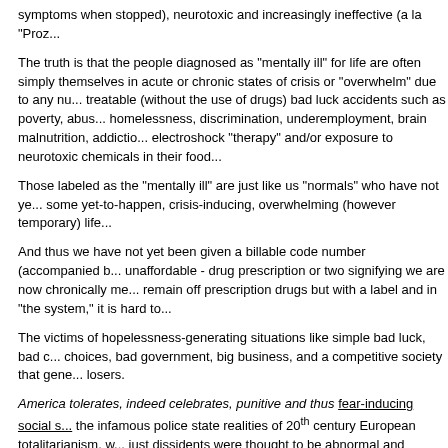symptoms when stopped), neurotoxic and increasingly ineffective (a la "Proz...
The truth is that the people diagnosed as "mentally ill" for life are often simply themselves in acute or chronic states of crisis or "overwhelm" due to any nu... treatable (without the use of drugs) bad luck accidents such as poverty, abus... homelessness, discrimination, underemployment, brain malnutrition, addictio... electroshock "therapy" and/or exposure to neurotoxic chemicals in their food...
Those labeled as the "mentally ill" are just like us "normals" who have not ye... some yet-to-happen, crisis-inducing, overwhelming (however temporary) life...
And thus we have not yet been given a billable code number (accompanied b... unaffordable - drug prescription or two signifying we are now chronically me... remain off prescription drugs but with a label and in "the system," it is hard to...
The victims of hopelessness-generating situations like simple bad luck, bad c... choices, bad government, big business, and a competitive society that gene... losers.
America tolerates, indeed celebrates, punitive and thus fear-inducing social s... the infamous police state realities of 20th century European totalitarianism, w... just dissidents were thought to be abnormal and therefore "disappeared" into... concentration camps without just cause or competent legal defense.
And many of them were and are drugged with disabling psychoactive chemic...
The truth is that most, if not all, of BigPharma's psychotropic drugs are letha... the lethal dose that kills 50 percent of lab animals, is calculated before effica... the drugs must be regarded as dangerous.